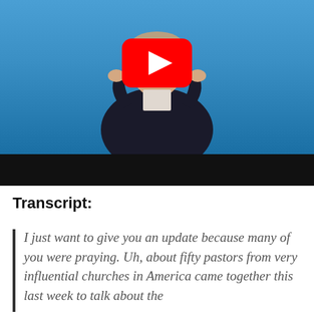[Figure (screenshot): YouTube video thumbnail showing a man in a dark suit speaking on stage against a blue background, with a YouTube play button overlay. The bottom portion of the thumbnail is a black bar.]
Transcript:
I just want to give you an update because many of you were praying. Uh, about fifty pastors from very influential churches in America came together this last week to talk about the